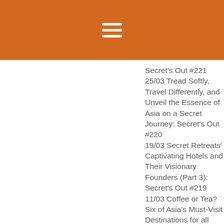[Figure (other): Orange header bar with white hamburger menu icon (three horizontal lines)]
Secret's Out #221
25/03 Tread Softly, Travel Differently, and Unveil the Essence of Asia on a Secret Journey: Secret's Out #220
19/03 Secret Retreats' Captivating Hotels and Their Visionary Founders (Part 3): Secret's Out #219
11/03 Coffee or Tea? Six of Asia's Must-Visit Destinations for all Caffeinated Gourmands: Secret's Out #217
04/03 Ready Made